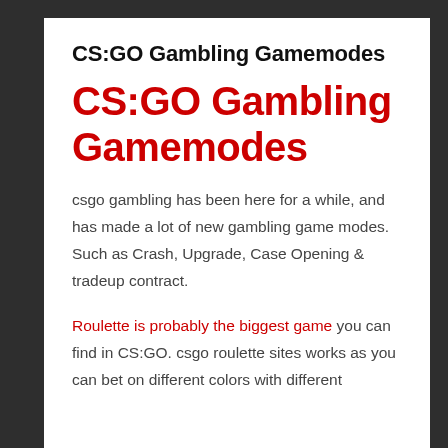CS:GO Gambling Gamemodes
CS:GO Gambling Gamemodes
csgo gambling has been here for a while, and has made a lot of new gambling game modes. Such as Crash, Upgrade, Case Opening & tradeup contract.
Roulette is probably the biggest game you can find in CS:GO. csgo roulette sites works as you can bet on different colors with different...